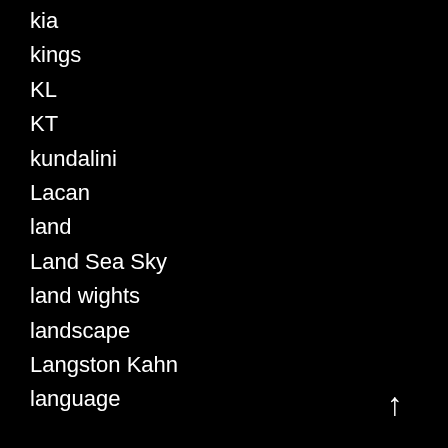kia
kings
KL
KT
kundalini
Lacan
land
Land Sea Sky
land wights
landscape
Langston Kahn
language